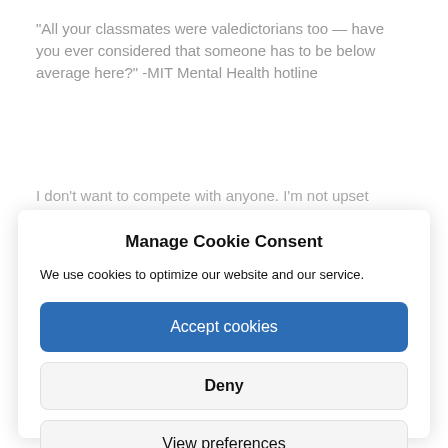“All your classmates were valedictorians too — have you ever considered that someone has to be below average here?” -MIT Mental Health hotline
I don’t want to compete with anyone. I’m not upset
Manage Cookie Consent
We use cookies to optimize our website and our service.
Accept cookies
Deny
View preferences